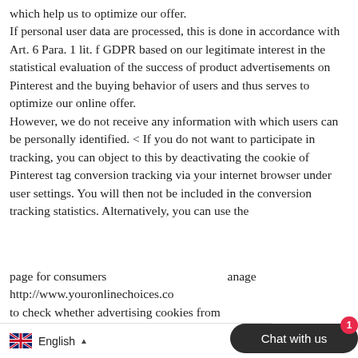which help us to optimize our offer. If personal user data are processed, this is done in accordance with Art. 6 Para. 1 lit. f GDPR based on our legitimate interest in the statistical evaluation of the success of product advertisements on Pinterest and the buying behavior of users and thus serves to optimize our online offer. However, we do not receive any information with which users can be personally identified. < If you do not want to participate in tracking, you can object to this by deactivating the cookie of Pinterest tag conversion tracking via your internet browser under user settings. You will then not be included in the conversion tracking statistics. Alternatively, you can use the page for consumers http://www.youronlinechoices.co... manage to check whether advertising cookies from
[Figure (other): Language selector toolbar showing UK flag, 'English' label, and an upward arrow triangle]
[Figure (other): Dark rounded chat button labeled 'Chat with us' with a red badge showing the number 1]